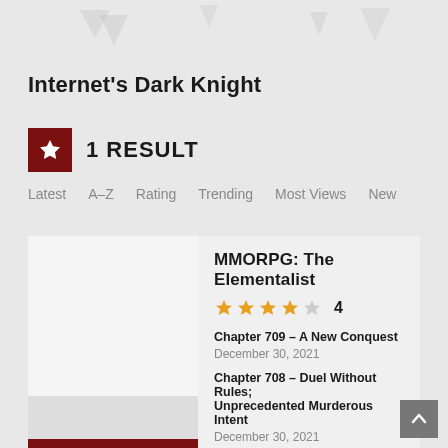Internet's Dark Knight
1 RESULT
Latest  A–Z  Rating  Trending  Most Views  New
MMORPG: The Elementalist
★★★★☆  4
Chapter 709 – A New Conquest
December 30, 2021
Chapter 708 – Duel Without Rules; Unprecedented Murderous Intent
December 30, 2021
Chapter 710